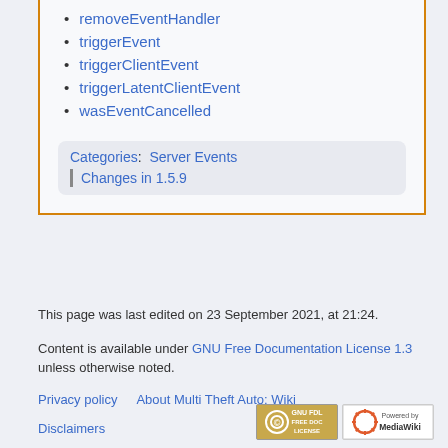removeEventHandler
triggerEvent
triggerClientEvent
triggerLatentClientEvent
wasEventCancelled
Categories:  Server Events | Changes in 1.5.9
This page was last edited on 23 September 2021, at 21:24.
Content is available under GNU Free Documentation License 1.3 unless otherwise noted.
Privacy policy   About Multi Theft Auto: Wiki
Disclaimers